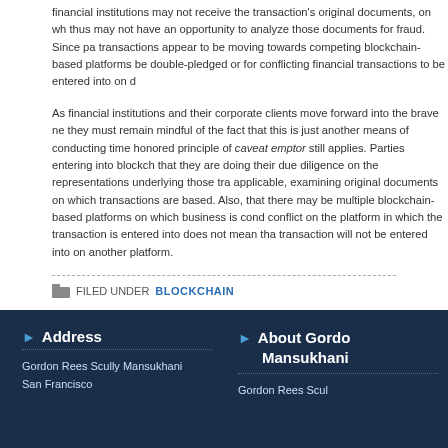financial institutions may not receive the transaction's original documents, on which thus may not have an opportunity to analyze those documents for fraud. Since pa transactions appear to be moving towards competing blockchain-based platforms, be double-pledged or for conflicting financial transactions to be entered into on d
As financial institutions and their corporate clients move forward into the brave ne they must remain mindful of the fact that this is just another means of conducting time honored principle of caveat emptor still applies. Parties entering into blockch that they are doing their due diligence on the representations underlying those tra applicable, examining original documents on which transactions are based. Also, that there may be multiple blockchain-based platforms on which business is cond conflict on the platform in which the transaction is entered into does not mean tha transaction will not be entered into on another platform.
FILED UNDER BLOCKCHAIN
Address
Gordon Rees Scully Mansukhani
San Francisco
About Gordon Mansukhani
Gordon Rees Scul